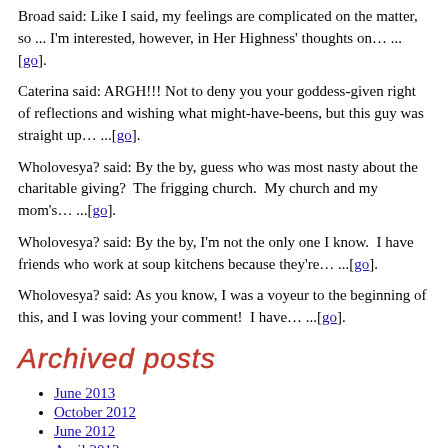Broad said: Like I said, my feelings are complicated on the matter, so ... I'm interested, however, in Her Highness' thoughts on… ... [go].
Caterina said: ARGH!!! Not to deny you your goddess-given right of reflections and wishing what might-have-beens, but this guy was straight up… ...[go].
Wholovesya? said: By the by, guess who was most nasty about the charitable giving?  The frigging church.  My church and my mom's… ...[go].
Wholovesya? said: By the by, I'm not the only one I know.  I have friends who work at soup kitchens because they're… ...[go].
Wholovesya? said: As you know, I was a voyeur to the beginning of this, and I was loving your comment!  I have… ...[go].
Archived posts
June 2013
October 2012
June 2012
April 2012
February 2012